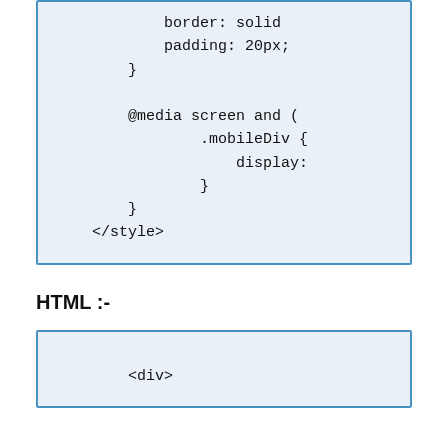[Figure (screenshot): A light blue code box showing CSS code: border: solid, padding: 20px; closing brace, @media screen and ... .mobileDiv { display: ... } closing braces, </style>]
HTML :-
[Figure (screenshot): A light blue code box showing HTML code starting with <div>]